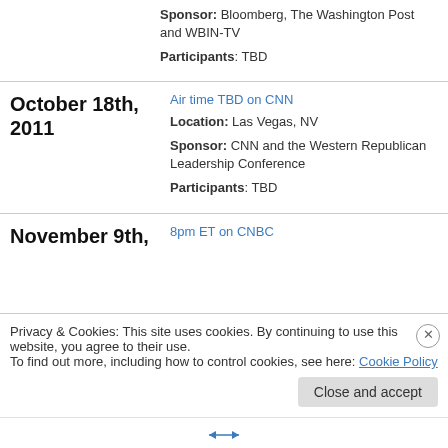Sponsor: Bloomberg, The Washington Post and WBIN-TV
Participants: TBD
October 18th, 2011
Air time TBD on CNN
Location: Las Vegas, NV
Sponsor: CNN and the Western Republican Leadership Conference
Participants: TBD
November 9th,
8pm ET on CNBC
Privacy & Cookies: This site uses cookies. By continuing to use this website, you agree to their use.
To find out more, including how to control cookies, see here: Cookie Policy
Close and accept